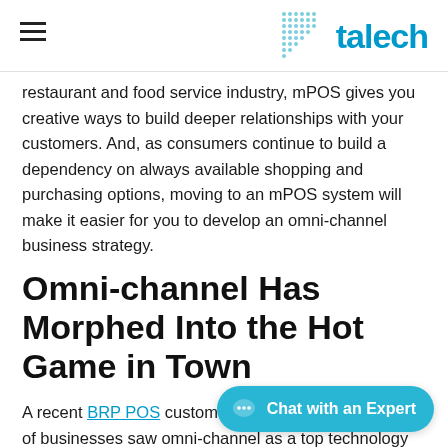talech
restaurant and food service industry, mPOS gives you creative ways to build deeper relationships with your customers. And, as consumers continue to build a dependency on always available shopping and purchasing options, moving to an mPOS system will make it easier for you to develop an omni-channel business strategy.
Omni-channel Has Morphed Into the Hot Game in Town
A recent BRP POS customer survey indicates that 43% of businesses saw omni-channel as a top technology priority for this year. As retail software solutions march forward into the future of